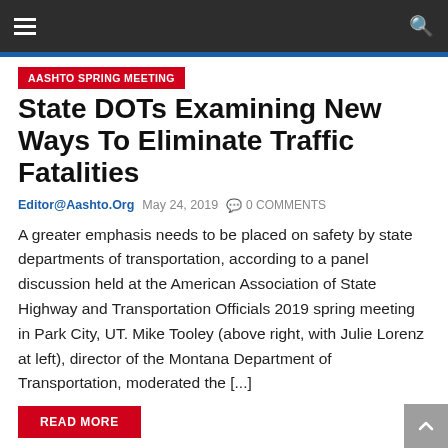Navigation bar with hamburger menu and search icon
AASHTO SPRING MEETING
State DOTs Examining New Ways To Eliminate Traffic Fatalities
Editor@Aashto.Org  May 24, 2019  0 COMMENTS
A greater emphasis needs to be placed on safety by state departments of transportation, according to a panel discussion held at the American Association of State Highway and Transportation Officials 2019 spring meeting in Park City, UT. Mike Tooley (above right, with Julie Lorenz at left), director of the Montana Department of Transportation, moderated the [...]
READ MORE